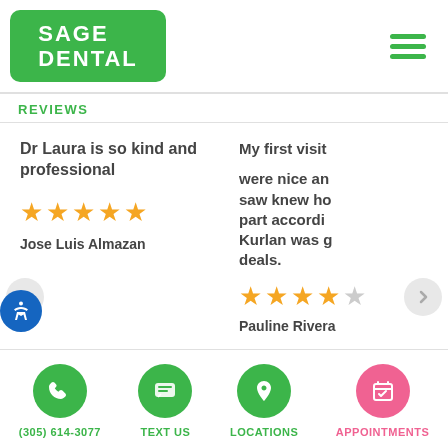[Figure (logo): Sage Dental green logo with white text]
REVIEWS
Dr Laura is so kind and professional
[Figure (other): 5 gold stars rating]
Jose Luis Almazan
My first visit were nice an saw knew ho part accordi Kurlan was g deals.
[Figure (other): 4.5 gold stars rating]
Pauline Rivera
(305) 614-3077
TEXT US
LOCATIONS
APPOINTMENTS